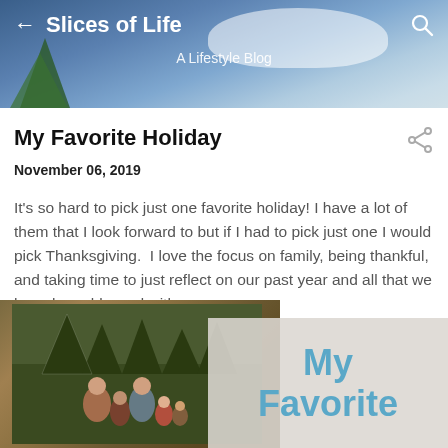Slices of Life – A Lifestyle Blog
My Favorite Holiday
November 06, 2019
It's so hard to pick just one favorite holiday! I have a lot of them that I look forward to but if I had to pick just one I would pick Thanksgiving.  I love the focus on family, being thankful, and taking time to just reflect on our past year and all that we have been blessed with.
[Figure (photo): Family photo displayed on a wall, with a semi-transparent card overlay showing the text 'My Favorite' in blue letters]